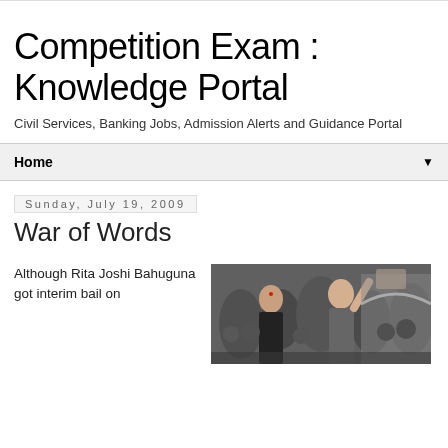Competition Exam : Knowledge Portal
Civil Services, Banking Jobs, Admission Alerts and Guidance Portal
Home
Sunday, July 19, 2009
War of Words
Although Rita Joshi Bahuguna got interim bail on
[Figure (photo): Two people in a crowd, one appearing to be raising a hand or object, photograph taken in India circa 2009]